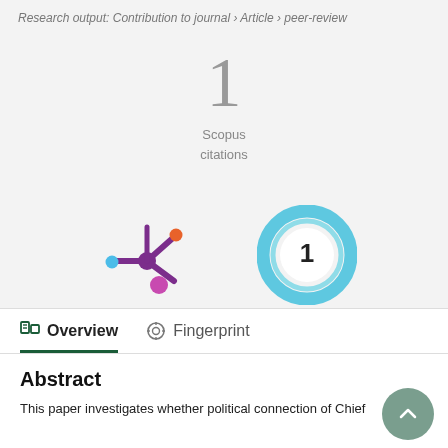Research output: Contribution to journal › Article › peer-review
1
Scopus
citations
[Figure (logo): Altmetric logo — a colorful asterisk/star shape with colored dots in purple, orange, blue, and pink]
[Figure (infographic): Scopus citation badge — a teal/cyan donut ring with the number 1 in the center]
Overview
Fingerprint
Abstract
This paper investigates whether political connection of Chief